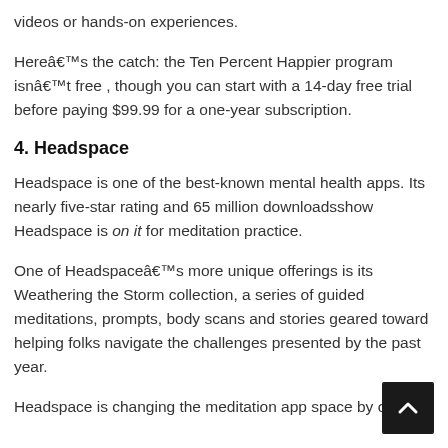videos or hands-on experiences.
Hereâs the catch: the Ten Percent Happier program isnât free, though you can start with a 14-day free trial before paying $99.99 for a one-year subscription.
4. Headspace
Headspace is one of the best-known mental health apps. Its nearly five-star rating and 65 million downloadsshow Headspace is on it for meditation practice.
One of Headspaceâs more unique offerings is its Weathering the Storm collection, a series of guided meditations, prompts, body scans and stories geared toward helping folks navigate the challenges presented by the past year.
Headspace is changing the meditation app space by off…